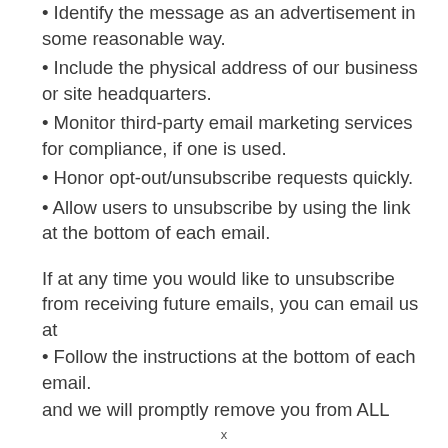• Identify the message as an advertisement in some reasonable way.
• Include the physical address of our business or site headquarters.
• Monitor third-party email marketing services for compliance, if one is used.
• Honor opt-out/unsubscribe requests quickly.
• Allow users to unsubscribe by using the link at the bottom of each email.
If at any time you would like to unsubscribe from receiving future emails, you can email us at
• Follow the instructions at the bottom of each email.
and we will promptly remove you from ALL
x